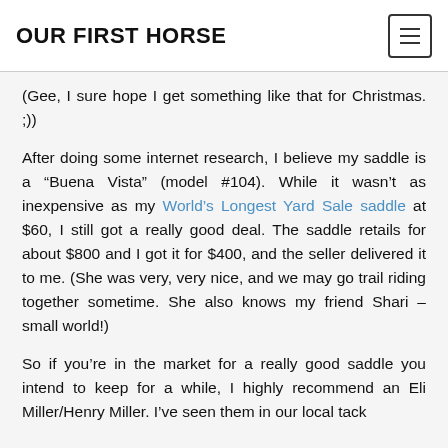OUR FIRST HORSE
(Gee, I sure hope I get something like that for Christmas. ;))
After doing some internet research, I believe my saddle is a “Buena Vista” (model #104). While it wasn’t as inexpensive as my World’s Longest Yard Sale saddle at $60, I still got a really good deal. The saddle retails for about $800 and I got it for $400, and the seller delivered it to me. (She was very, very nice, and we may go trail riding together sometime. She also knows my friend Shari – small world!)
So if you’re in the market for a really good saddle you intend to keep for a while, I highly recommend an Eli Miller/Henry Miller. I’ve seen them in our local tack